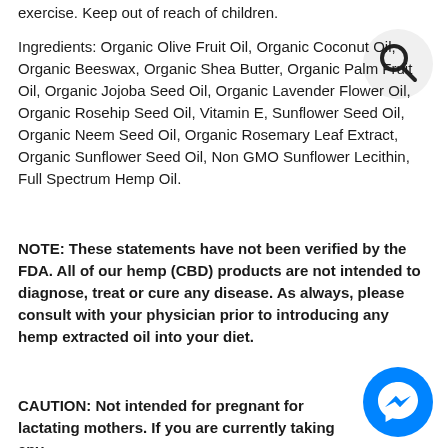exercise. Keep out of reach of children.
Ingredients: Organic Olive Fruit Oil, Organic Coconut Oil, Organic Beeswax, Organic Shea Butter, Organic Palm Fruit Oil, Organic Jojoba Seed Oil, Organic Lavender Flower Oil, Organic Rosehip Seed Oil, Vitamin E, Sunflower Seed Oil, Organic Neem Seed Oil, Organic Rosemary Leaf Extract, Organic Sunflower Seed Oil, Non GMO Sunflower Lecithin, Full Spectrum Hemp Oil.
NOTE: These statements have not been verified by the FDA. All of our hemp (CBD) products are not intended to diagnose, treat or cure any disease. As always, please consult with your physician prior to introducing any hemp extracted oil into your diet.
CAUTION: Not intended for pregnant for lactating mothers. If you are currently taking any
[Figure (illustration): Search icon (magnifying glass) in a light gray circle, top right corner]
[Figure (illustration): Facebook Messenger icon in a blue circle, bottom right corner]